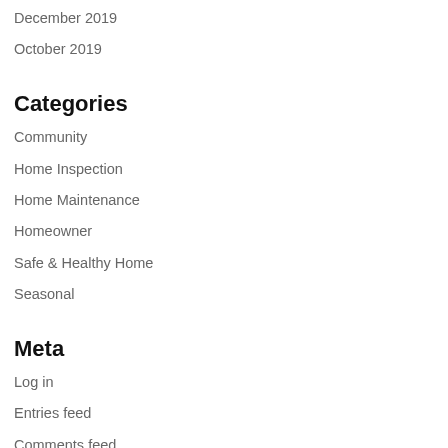December 2019
October 2019
Categories
Community
Home Inspection
Home Maintenance
Homeowner
Safe & Healthy Home
Seasonal
Meta
Log in
Entries feed
Comments feed